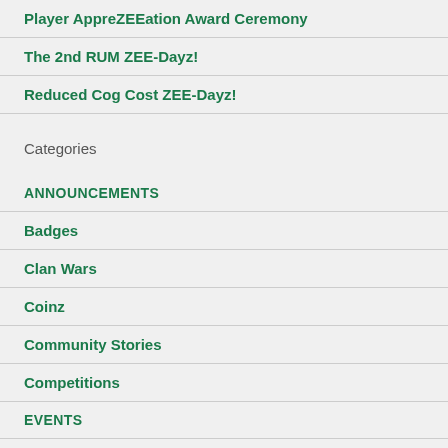Player AppreZEEation Award Ceremony
The 2nd RUM ZEE-Dayz!
Reduced Cog Cost ZEE-Dayz!
Categories
ANNOUNCEMENTS
Badges
Clan Wars
Coinz
Community Stories
Competitions
EVENTS
Featured Toolkit
Fundraisers